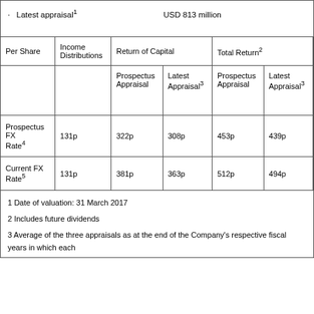· Latest appraisal1    USD 813 million
| Per Share | Income Distributions | Return of Capital – Prospectus Appraisal | Return of Capital – Latest Appraisal3 | Total Return2 – Prospectus Appraisal | Total Return2 – Latest Appraisal3 |
| --- | --- | --- | --- | --- | --- |
| Prospectus FX Rate4 | 131p | 322p | 308p | 453p | 439p |
| Current FX Rate5 | 131p | 381p | 363p | 512p | 494p |
1 Date of valuation: 31 March 2017
2 Includes future dividends
3 Average of the three appraisals as at the end of the Company's respective fiscal years in which each